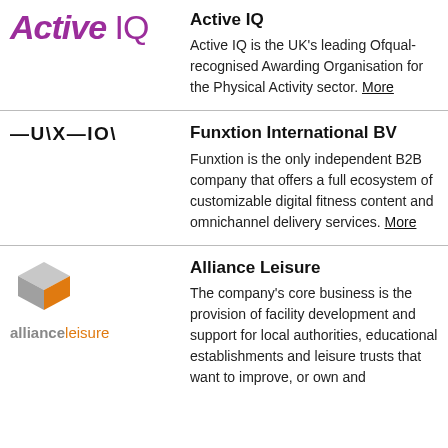[Figure (logo): Active IQ logo in purple italic bold text]
Active IQ
Active IQ is the UK's leading Ofqual-recognised Awarding Organisation for the Physical Activity sector. More
[Figure (logo): Funxtion logo in stylized uppercase geometric text]
Funxtion International BV
Funxtion is the only independent B2B company that offers a full ecosystem of customizable digital fitness content and omnichannel delivery services. More
[Figure (logo): Alliance Leisure logo with 3D cube icon above text 'allianceleisure' in orange and grey]
Alliance Leisure
The company's core business is the provision of facility development and support for local authorities, educational establishments and leisure trusts that want to improve, or own and